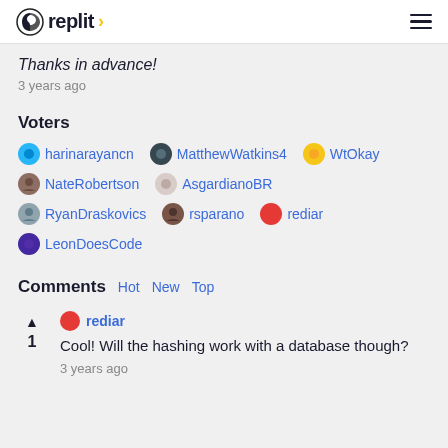replit
Thanks in advance!
3 years ago
Voters
harinarayancn
MatthewWatkins4
WtOkay
NateRobertson
AsgardianoBR
RyanDraskovics
rsparano
rediar
LeonDoesCode
Comments Hot New Top
rediar
Cool! Will the hashing work with a database though?
3 years ago